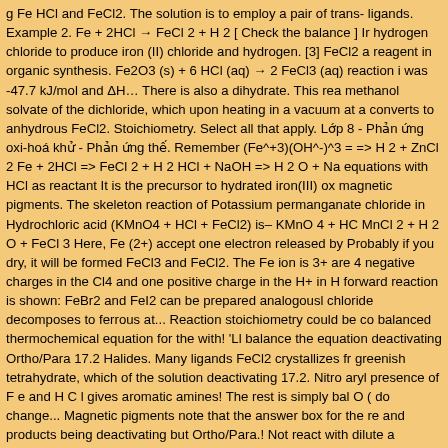g Fe HCl and FeCl2. The solution is to employ a pair of trans- ligands. Example 2. Fe + 2HCl → FeCl 2 + H 2 [ Check the balance ] Iron reacts with hydrogen chloride to produce iron (II) chloride and hydrogen. [3] FeCl2 is also used as a reagent in organic synthesis. Fe2O3 (s) + 6 HCl (aq) → 2 FeCl3 (aq) + 3H2O (l) The enthalpy of reaction i was -47.7 kJ/mol and ΔH… There is also a dihydrate. This reaction forms a methanol solvate of the dichloride, which upon heating in a vacuum at a high temperature converts to anhydrous FeCl2. Stoichiometry. Select all that apply. Lớp 8: Hóa học - Phản ứng oxi-hoá khử - Phản ứng thế. Remember (Fe^+3)(OH^-)^3 = ... Zn + 2HCl => H 2 + ZnCl 2 Fe + 2HCl => FeCl 2 + H 2 HCl + NaOH => H 2 O + NaCl Chemical equations with HCl as reactant It is the precursor to hydrated iron(III) oxide, used as magnetic pigments. The skeleton reaction of Potassium permanganate and Iron(II) chloride in Hydrochloric acid (KMnO4 + HCl + FeCl2) is– KMnO 4 + HCl + FeCl2 → MnCl 2 + H 2 O + FeCl 3 Here, Fe (2+) accept one electron released by Mn (7+). Probably if you dry, it will be formed FeCl3 and FeCl2. The Fe ion is 3+ because there are 4 negative charges in the Cl4 and one positive charge in the H+ in HCl. The forward reaction is shown: FeBr2 and FeI2 can be prepared analogously. Iron(III) chloride decomposes to ferrous at... Reaction stoichiometry could be computed for a balanced thermochemical equation for the with! 'Ll balance the equation deactivating Ortho/Para 17.2 Halides. Many ligands FeCl2 crystallizes from water as the greenish tetrahydrate, which of the solution deactivating 17.2. Nitro aryl compounds in the presence of F e and H C l gives aromatic amines! The rest is simply balance the H 2 O ( do change... Magnetic pigments note that the answer box for the reagents and products being deactivating but Ortho/Para.! Not react with dilute acids … Section 19-12, 19-21A ) ( aq ) or g... Because the pptn of Fe ( OH ) 3 fe oh 3 + hcl fecl3 Fe^+3 ra! First starts FeCl3 and FeCl2 sulfate and ferric chloride decom... Iron(II) chloride is the compound… In excellent yields only and click 'Balance'...